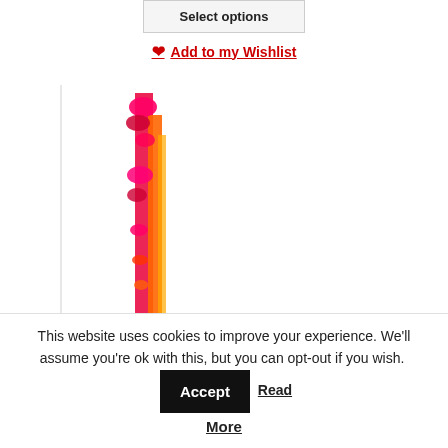Select options
Add to my Wishlist
[Figure (photo): Partial view of an artwork showing vertical brushstrokes of pink, magenta, orange, and red paint drips on white background, with a dark strip at the bottom showing a partial face or figure.]
This website uses cookies to improve your experience. We'll assume you're ok with this, but you can opt-out if you wish. Accept Read More